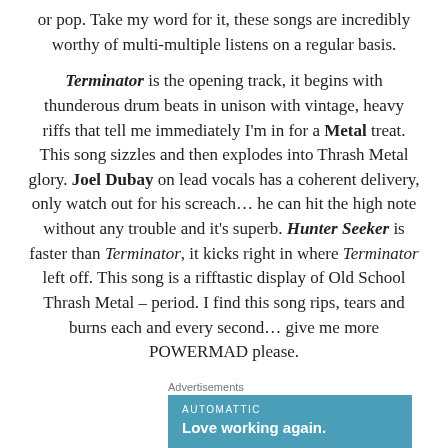or pop. Take my word for it, these songs are incredibly worthy of multi-multiple listens on a regular basis.
Terminator is the opening track, it begins with thunderous drum beats in unison with vintage, heavy riffs that tell me immediately I'm in for a Metal treat. This song sizzles and then explodes into Thrash Metal glory. Joel Dubay on lead vocals has a coherent delivery, only watch out for his screach… he can hit the high note without any trouble and it's superb. Hunter Seeker is faster than Terminator, it kicks right in where Terminator left off. This song is a rifftastic display of Old School Thrash Metal – period. I find this song rips, tears and burns each and every second… give me more POWERMAD please.
Advertisements
[Figure (other): Advertisement banner for Automattic with tagline 'Love working again.' on a teal/blue background.]